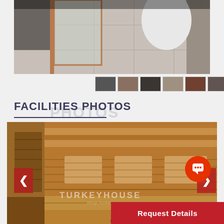[Figure (photo): Interior bathroom/hallway photo showing tiled floor, glass door with copper frame, concrete walls]
[Figure (photo): Strip of 5 small thumbnail photos of interior spaces]
FACILITIES PHOTOS
[Figure (photo): Sauna interior with wooden walls, benches, and back rests; TURKEYHOUSE watermark visible; navigation arrows on left and right]
[Figure (other): Request Details red button with chat icon]